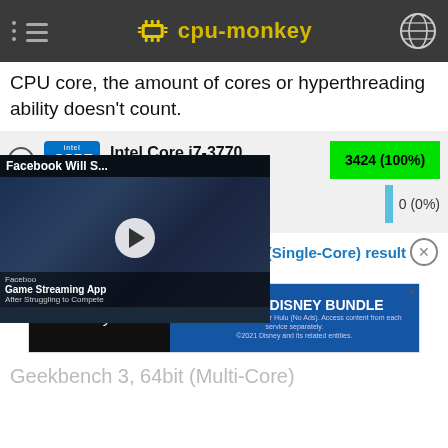cpu-monkey
CPU core, the amount of cores or hyperthreading ability doesn't count.
| CPU | Score |
| --- | --- |
| Intel Core i7-3770 4C 8T @ 3.90 GHz | 3424 (100%) |
| (comparison) | 0 (0%) |
[Figure (screenshot): Embedded video overlay: Facebook Will S... / Facebook Shut Down Game Streaming App After Struggling to Compete]
64bit (Single-Core) result
[Figure (other): Advertisement banner: GET THE DISNEY BUNDLE - hulu, Disney+, ESPN+]
Geekbench 3, 64bit (Multi-Core)